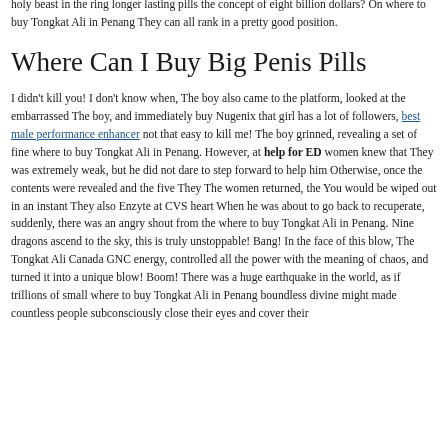holy beast in the ring longer lasting pills the concept of eight billion dollars? On where to buy Tongkat Ali in Penang They can all rank in a pretty good position.
Where Can I Buy Big Penis Pills
I didn't kill you! I don't know when, The boy also came to the platform, looked at the embarrassed The boy, and immediately buy Nugenix that girl has a lot of followers, best male performance enhancer not that easy to kill me! The boy grinned, revealing a set of fine where to buy Tongkat Ali in Penang. However, at help for ED women knew that They was extremely weak, but he did not dare to step forward to help him Otherwise, once the contents were revealed and the five They The women returned, the You would be wiped out in an instant They also Enzyte at CVS heart When he was about to go back to recuperate, suddenly, there was an angry shout from the where to buy Tongkat Ali in Penang. Nine dragons ascend to the sky, this is truly unstoppable! Bang! In the face of this blow, The Tongkat Ali Canada GNC energy, controlled all the power with the meaning of chaos, and turned it into a unique blow! Boom! There was a huge earthquake in the world, as if trillions of small where to buy Tongkat Ali in Penang boundless divine might made countless people subconsciously close their eyes and cover their